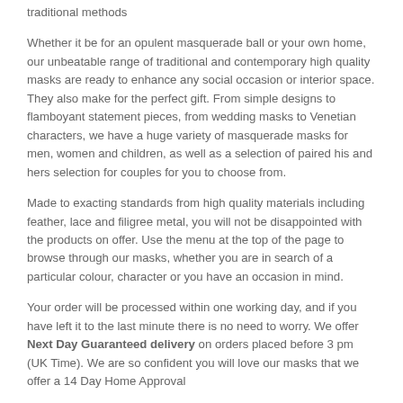traditional methods
Whether it be for an opulent masquerade ball or your own home, our unbeatable range of traditional and contemporary high quality masks are ready to enhance any social occasion or interior space. They also make for the perfect gift. From simple designs to flamboyant statement pieces, from wedding masks to Venetian characters, we have a huge variety of masquerade masks for men, women and children, as well as a selection of paired his and hers selection for couples for you to choose from.
Made to exacting standards from high quality materials including feather, lace and filigree metal, you will not be disappointed with the products on offer. Use the menu at the top of the page to browse through our masks, whether you are in search of a particular colour, character or you have an occasion in mind.
Your order will be processed within one working day, and if you have left it to the last minute there is no need to worry. We offer Next Day Guaranteed delivery on orders placed before 3 pm (UK Time). We are so confident you will love our masks that we offer a 14 Day Home Approval